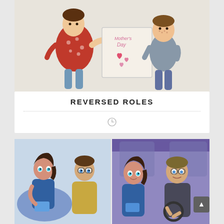[Figure (illustration): Cartoon illustration showing a child in a red polka-dot outfit presenting a Mother's Day card with hearts to another child/figure on the right wearing blue, with 'Mother's Day' written on the card]
REVERSED ROLES
[Figure (illustration): Two-panel cartoon/comic illustration showing a couple: left panel shows them indoors with the woman looking at her phone and the man watching her; right panel shows them in a car with the woman on her phone and the man driving]